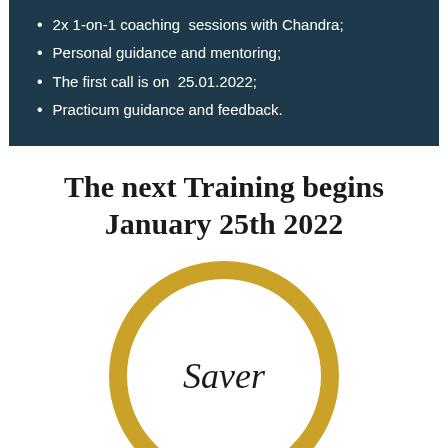2x 1-on-1 coaching sessions with Chandra;
Personal guidance and mentoring;
The first call is on 25.01.2022;
Practicum guidance and feedback.
The next Training begins January 25th 2022
[Figure (illustration): A circular badge with a thick gold/yellow border on a white background, containing the italic text 'Saver' in a serif font. A shopping cart widget with a magenta badge showing '0' is overlaid in the bottom-right corner.]